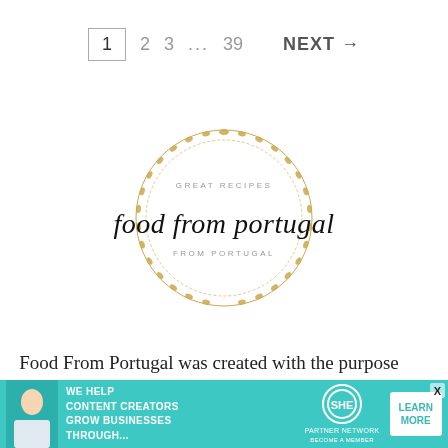1  2  3  ...  39  NEXT →
[Figure (logo): Food From Portugal logo: circular laurel wreath with script text 'food from portugal' in center, 'GREAT RECIPES' above and 'FROM PORTUGAL' below in small caps, golden/tan color]
Food From Portugal was created with the purpose to divulge the Portuguese food to all
[Figure (infographic): Teal advertisement banner: 'WE HELP CONTENT CREATORS GROW BUSINESSES THROUGH...' with SHE Media Partner Network logo and 'LEARN MORE' button, close X button]